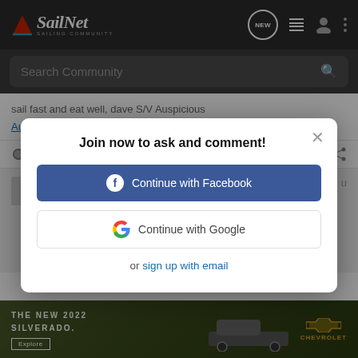SailNet SAILING COMMUNITY
Search Community
sail fast and eat well, dave S/V Auspicious
AuspiciousWorks
Reply   Quote
Join now to ask and comment!
Continue with Facebook
Continue with Google
or sign up with email
[Figure (screenshot): Advertisement for The New 2022 Silverado by Chevrolet showing a truck in an outdoor setting with Explore button]
THE NEW 2022 SILVERADO. Explore | CHEVROLET